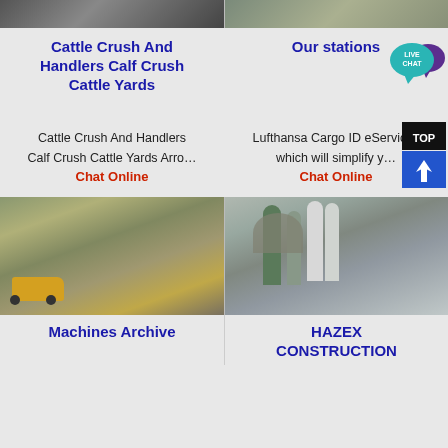[Figure (photo): Photo of a mining/quarry site with rocks and machinery, top left]
[Figure (photo): Photo of an outdoor terrain/landscape, top right]
Cattle Crush And Handlers Calf Crush Cattle Yards
Our stations
[Figure (infographic): Live Chat speech bubble icon in teal/purple]
Cattle Crush And Handlers Calf Crush Cattle Yards Arro…
Chat Online
Lufthansa Cargo ID eServices which will simplify y…
Chat Online
[Figure (infographic): TOP with upward arrow badge in dark/blue]
[Figure (photo): Quarry/mining site with dump truck and conveyor belts]
[Figure (photo): Industrial machinery with silos and processing equipment]
Machines Archive
HAZEX CONSTRUCTION